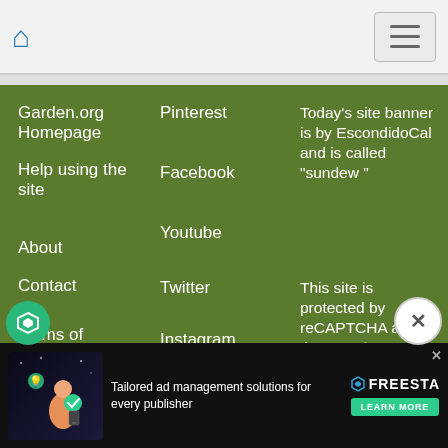Navigation bar with home icon and hamburger menu
Garden.org Homepage
Help using the site
About
Contact
Terms of Service
Privacy
Pinterest
Facebook
Youtube
Twitter
Instagram
Linkedin
Today's site banner is by EscondidoCal and is called "sundew "
This site is protected by reCAPTCHA and the Google
[Figure (infographic): Advertisement banner: Tailored ad management solutions for every publisher - Freesta Learn More]
Ad bar: Tailored ad management solutions for every publisher | FREESTA | LEARN MORE